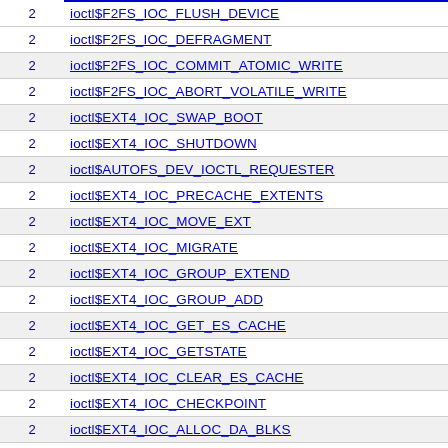|  |  |
| --- | --- |
| 2 | ioctl$F2FS_IOC_FLUSH_DEVICE |
| 2 | ioctl$F2FS_IOC_DEFRAGMENT |
| 2 | ioctl$F2FS_IOC_COMMIT_ATOMIC_WRITE |
| 2 | ioctl$F2FS_IOC_ABORT_VOLATILE_WRITE |
| 2 | ioctl$EXT4_IOC_SWAP_BOOT |
| 2 | ioctl$EXT4_IOC_SHUTDOWN |
| 2 | ioctl$AUTOFS_DEV_IOCTL_REQUESTER |
| 2 | ioctl$EXT4_IOC_PRECACHE_EXTENTS |
| 2 | ioctl$EXT4_IOC_MOVE_EXT |
| 2 | ioctl$EXT4_IOC_MIGRATE |
| 2 | ioctl$EXT4_IOC_GROUP_EXTEND |
| 2 | ioctl$EXT4_IOC_GROUP_ADD |
| 2 | ioctl$EXT4_IOC_GET_ES_CACHE |
| 2 | ioctl$EXT4_IOC_GETSTATE |
| 2 | ioctl$EXT4_IOC_CLEAR_ES_CACHE |
| 2 | ioctl$EXT4_IOC_CHECKPOINT |
| 2 | ioctl$EXT4_IOC_ALLOC_DA_BLKS |
| 2 | ioctl$AUTOFS_DEV_IOCTL_PROTOSUBVER |
| 2 | ioctl$BTRFS_IOC_WAIT_SYNC |
| 2 | ioctl$BTRFS_IOC_TREE_SEARCH_V2 |